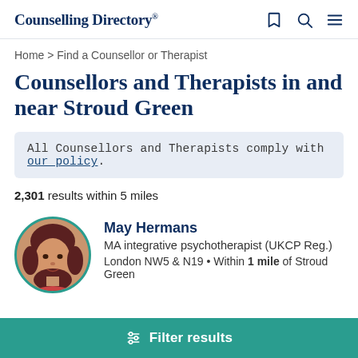Counselling Directory
Home > Find a Counsellor or Therapist
Counsellors and Therapists in and near Stroud Green
All Counsellors and Therapists comply with our policy.
2,301 results within 5 miles
[Figure (photo): Circular profile photo of May Hermans with teal border]
May Hermans
MA integrative psychotherapist (UKCP Reg.)
London NW5 & N19 • Within 1 mile of Stroud Green
Filter results